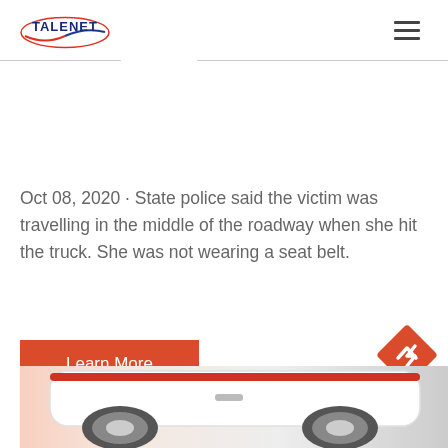TALENET
Oct 08, 2020 · State police said the victim was travelling in the middle of the roadway when she hit the truck. She was not wearing a seat belt.
Learn More
[Figure (photo): Bottom portion of a car, showing the wheel arch area with red and white coloring, partially cropped at bottom of page]